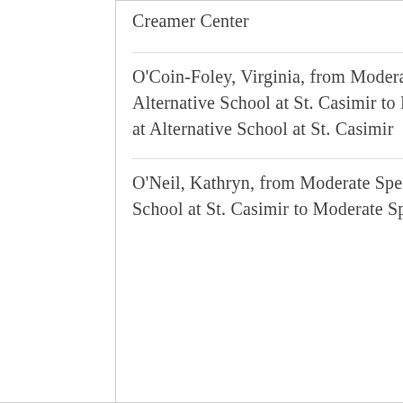| Creamer Center |
| O'Coin-Foley, Virginia, from Moderate Special Needs/Behavior Management at Alternative School at St. Casimir to Moderate Special Needs/Behavior Management at Alternative School at St. Casimir |
| O'Neil, Kathryn, from Moderate Special Needs/Behavior Management at Alternative School at St. Casimir to Moderate Special Needs/Behavior Management at |